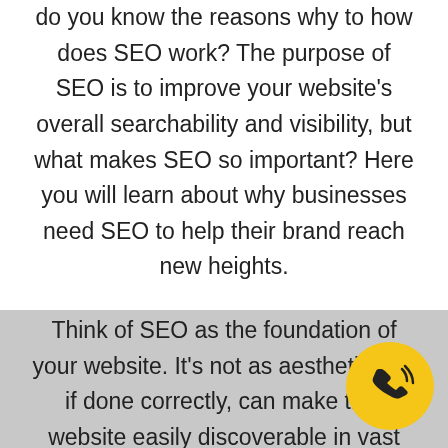do you know the reasons why to how does SEO work? The purpose of SEO is to improve your website's overall searchability and visibility, but what makes SEO so important? Here you will learn about why businesses need SEO to help their brand reach new heights.

Think of SEO as the foundation of your website. It's not as aesthetic but, if done correctly, can make that website easily discoverable in vast searches. It builds credibility for your business by achieving authority amongst all of the competition
[Figure (other): Yellow circular phone/call button icon in the bottom-right corner]